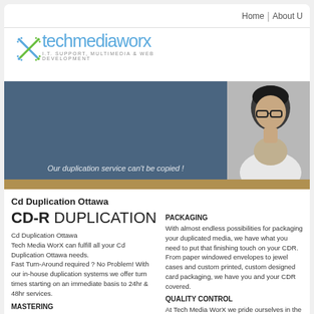Home | About U
[Figure (logo): Techmediaworx logo with X icon and tagline: I.T. SUPPORT, MULTIMEDIA & WEB DEVELOPMENT]
[Figure (photo): Hero banner with blue-gray background on left showing italic caption 'Our duplication service can't be copied!' and a black-and-white photo of a woman with glasses on the right]
Cd Duplication Ottawa
CD-R DUPLICATION
Cd Duplication Ottawa
Tech Media WorX can fulfill all your Cd Duplication Ottawa needs.
Fast Turn-Around required ? No Problem! With our in-house duplication systems we offer turn times starting on an immediate basis to 24hr & 48hr services.
MASTERING
Tech Media WorX will master all of your projects with the highest standards. We keep all masters on file to make your reorders
PACKAGING
With almost endless possibilities for packaging your duplicated media, we have what you need to put that finishing touch on your CDR. From paper windowed envelopes to jewel cases and custom printed, custom designed card packaging, we have you and your CDR covered.
QUALITY CONTROL
At Tech Media WorX we pride ourselves in the efforts we put into Quality Control. No